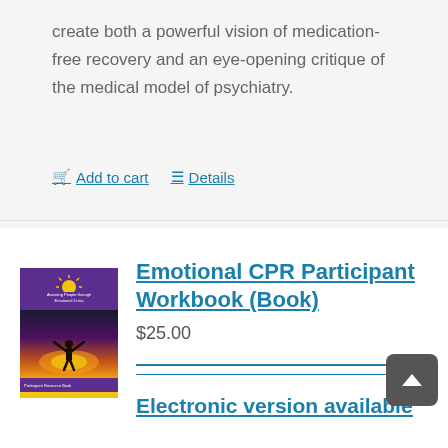create both a powerful vision of medication-free recovery and an eye-opening critique of the medical model of psychiatry.
Add to cart   Details
[Figure (illustration): Book cover for Emotional CPR Participant Workbook showing a purple cover with a sun logo at top, a silhouette figure with arms raised against a sunset background, text 'Participant Resource Book' and website URL at bottom]
Emotional CPR Participant Workbook (Book)
$25.00
Electronic version available